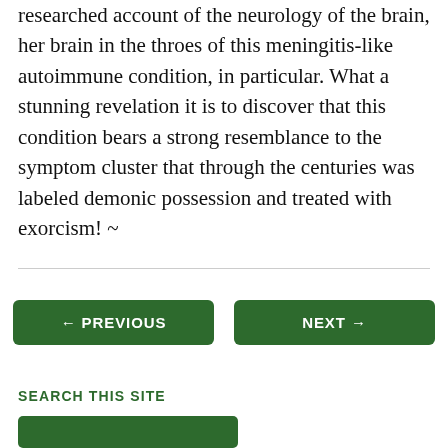researched account of the neurology of the brain, her brain in the throes of this meningitis-like autoimmune condition, in particular. What a stunning revelation it is to discover that this condition bears a strong resemblance to the symptom cluster that through the centuries was labeled demonic possession and treated with exorcism! ~
← PREVIOUS
NEXT →
SEARCH THIS SITE